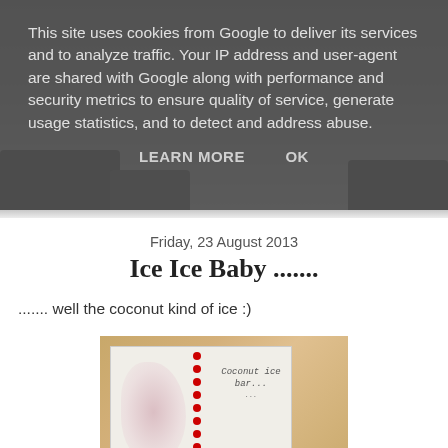This site uses cookies from Google to deliver its services and to analyze traffic. Your IP address and user-agent are shared with Google along with performance and security metrics to ensure quality of service, generate usage statistics, and to detect and address abuse.
LEARN MORE    OK
Friday, 23 August 2013
Ice Ice Baby .......
....... well the coconut kind of ice :)
[Figure (photo): A photo of a spiral-bound notebook open on a wooden table, with text reading 'Coconut ice bar...' visible on the page, and a blurry pink/white item visible on the left page.]